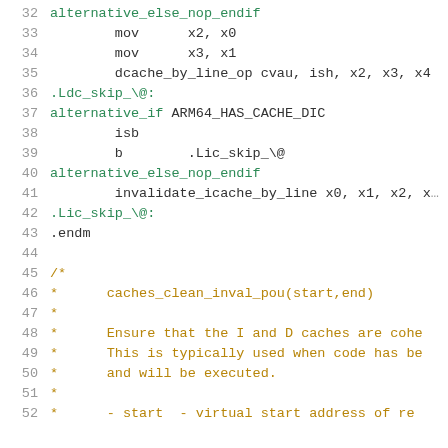32  alternative_else_nop_endif
33      mov     x2, x0
34      mov     x3, x1
35      dcache_by_line_op cvau, ish, x2, x3, x4
36  .Ldc_skip_\@:
37  alternative_if ARM64_HAS_CACHE_DIC
38      isb
39      b       .Lic_skip_\@
40  alternative_else_nop_endif
41      invalidate_icache_by_line x0, x1, x2, x...
42  .Lic_skip_\@:
43  .endm
44
45  /*
46   *      caches_clean_inval_pou(start,end)
47   *
48   *      Ensure that the I and D caches are cohe...
49   *      This is typically used when code has be...
50   *      and will be executed.
51   *
52   *      - start  - virtual start address of re...